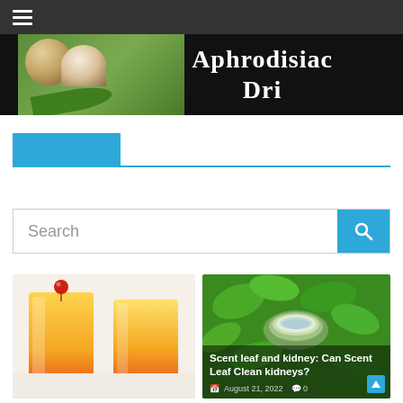Navigation bar with hamburger menu
[Figure (photo): Hero banner image showing coconut and text 'Aphrodisiac' overlaid on dark background]
[Figure (other): Blue section header bar with horizontal blue line]
Search
[Figure (photo): Two cocktail drinks with cherry garnish - orange/red gradient drinks in tall glasses]
[Figure (photo): Scent leaf and kidney article card with green herbs and a bowl of water]
Scent leaf and kidney: Can Scent Leaf Clean kidneys?
August 21, 2022  0